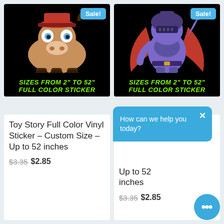[Figure (illustration): Toy Story Bullseye cartoon horse on black background with green text 'SIZES FROM 2" TO 52" FULL COLOR STICKER' and Sale badge]
[Figure (illustration): Toy Story Zurg villain cartoon character on black background with green text 'SIZES FROM 2" TO 52" FULL COLOR STICKER' and Sale badge]
Toy Story Full Color Vinyl Sticker – Custom Size – Up to 52 inches
$3.35 $2.85
Toy Story Full Color Vinyl Sticker – Custom Size – Up to 52 inches
$3.35 $2.85
How can we help you today?